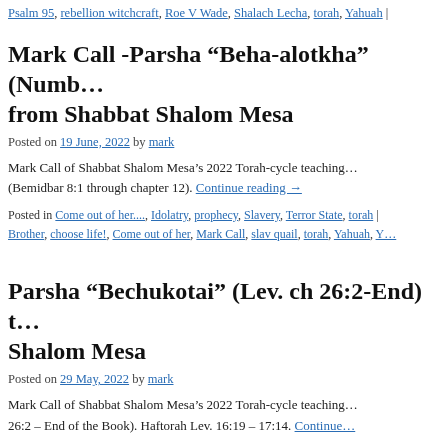Psalm 95, rebellion witchcraft, Roe V Wade, Shalach Lecha, torah, Yahuah |
Mark Call -Parsha “Beha-alotkha” (Numb… from Shabbat Shalom Mesa
Posted on 19 June, 2022 by mark
Mark Call of Shabbat Shalom Mesa’s 2022 Torah-cycle teaching… (Bemidbar 8:1 through chapter 12). Continue reading →
Posted in Come out of her...., Idolatry, prophecy, Slavery, Terror State, torah | Brother, choose life!, Come out of her, Mark Call, slav quail, torah, Yahuah, Y…
Parsha “Bechukotai” (Lev. ch 26:2-End) t… Shalom Mesa
Posted on 29 May, 2022 by mark
Mark Call of Shabbat Shalom Mesa’s 2022 Torah-cycle teaching… 26:2 – End of the Book). Haftorah Lev. 16:19 – 17:14. Continue…